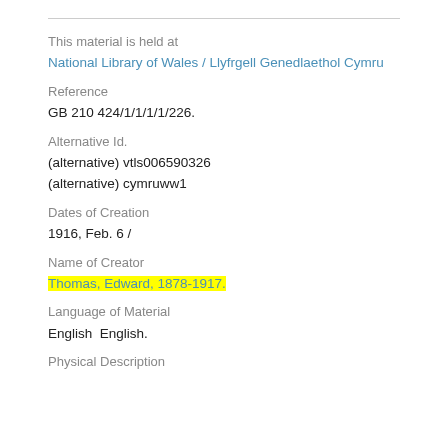This material is held at
National Library of Wales / Llyfrgell Genedlaethol Cymru
Reference
GB 210 424/1/1/1/1/226.
Alternative Id.
(alternative) vtls006590326
(alternative) cymruww1
Dates of Creation
1916, Feb. 6 /
Name of Creator
Thomas, Edward, 1878-1917.
Language of Material
English  English.
Physical Description